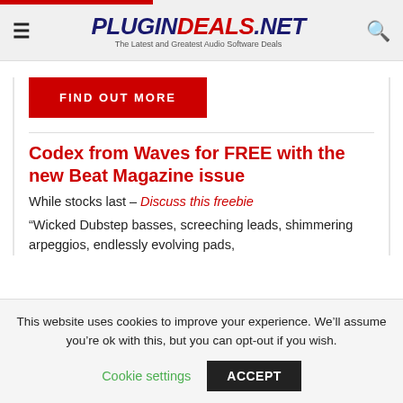PLUGINDEALS.NET — The Latest and Greatest Audio Software Deals
[Figure (other): Red button labeled FIND OUT MORE]
Codex from Waves for FREE with the new Beat Magazine issue
While stocks last – Discuss this freebie
“Wicked Dubstep basses, screeching leads, shimmering arpeggios, endlessly evolving pads,
This website uses cookies to improve your experience. We’ll assume you’re ok with this, but you can opt-out if you wish.